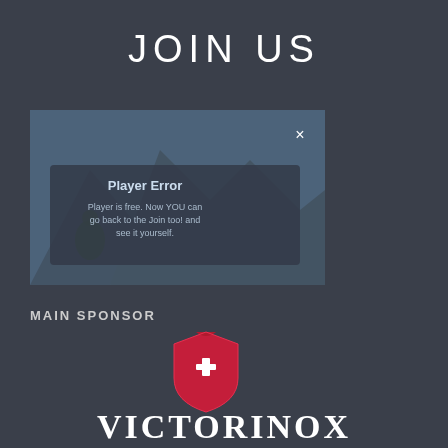JOIN US
[Figure (screenshot): Video player screenshot showing a mountain scene with a cyclist, overlaid with a 'Player Error' dialog box. The error message text reads: 'Player is free. Now YOU can go back to the Join too! and see it yourself.' An X close button is visible in the top right of the player.]
MAIN SPONSOR
[Figure (logo): Victorinox shield logo — a red shield with a white cross in the center and decorative elements at the top.]
VICTORINOX